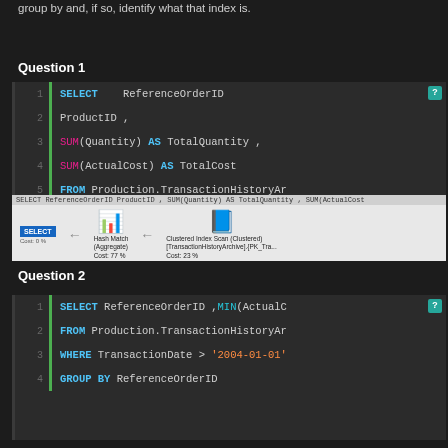group by and, if so, identify what that index is.
Question 1
[Figure (screenshot): SQL code block showing SELECT ReferenceOrderID, ProductID, SUM(Quantity) AS TotalQuantity, SUM(ActualCost) AS TotalCost FROM Production.TransactionHistoryArchive WHERE TransactionType = 'S' GROUP BY ReferenceOrderID, ProductID]
[Figure (screenshot): SQL Server execution plan showing SELECT -> Hash Match (Aggregate) Cost: 77% -> Clustered Index Scan (Clustered) [TransactionHistoryArchive].{PK_Tra... Cost: 23%]
Question 2
[Figure (screenshot): SQL code block showing SELECT ReferenceOrderID, MIN(ActualCost) FROM Production.TransactionHistoryArchive WHERE TransactionDate > '2004-01-01' GROUP BY ReferenceOrderID]